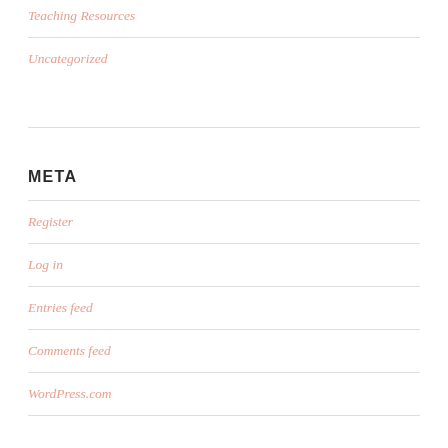Teaching Resources
Uncategorized
META
Register
Log in
Entries feed
Comments feed
WordPress.com